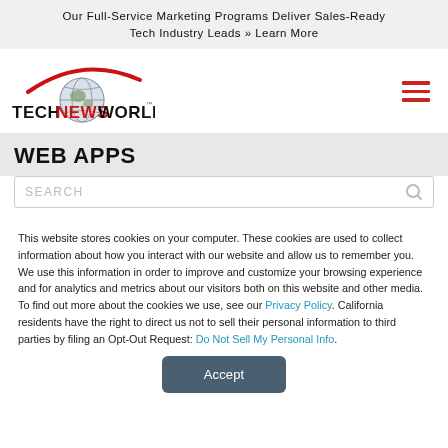Our Full-Service Marketing Programs Deliver Sales-Ready Tech Industry Leads » Learn More
[Figure (logo): TechNewsWorld logo with globe and red arc]
WEB APPS
This website stores cookies on your computer. These cookies are used to collect information about how you interact with our website and allow us to remember you. We use this information in order to improve and customize your browsing experience and for analytics and metrics about our visitors both on this website and other media. To find out more about the cookies we use, see our Privacy Policy. California residents have the right to direct us not to sell their personal information to third parties by filing an Opt-Out Request: Do Not Sell My Personal Info.